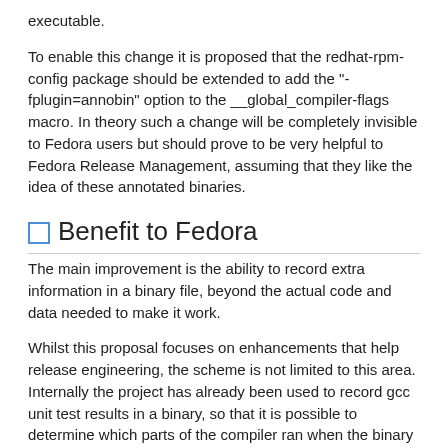executable.
To enable this change it is proposed that the redhat-rpm-config package should be extended to add the "-fplugin=annobin" option to the __global_compiler-flags macro. In theory such a change will be completely invisible to Fedora users but should prove to be very helpful to Fedora Release Management, assuming that they like the idea of these annotated binaries.
Benefit to Fedora
The main improvement is the ability to record extra information in a binary file, beyond the actual code and data needed to make it work.
Whilst this proposal focuses on enhancements that help release engineering, the scheme is not limited to this area. Internally the project has already been used to record gcc unit test results in a binary, so that it is possible to determine which parts of the compiler ran when the binary was created.